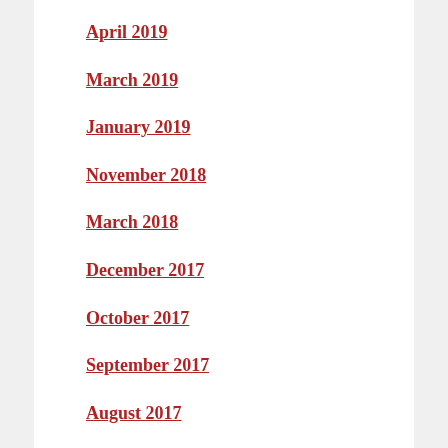April 2019
March 2019
January 2019
November 2018
March 2018
December 2017
October 2017
September 2017
August 2017
July 2017